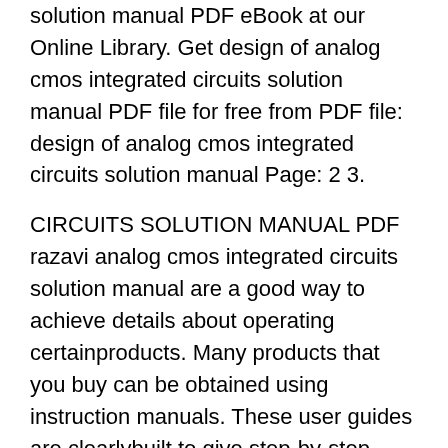solution manual PDF eBook at our Online Library. Get design of analog cmos integrated circuits solution manual PDF file for free from PDF file: design of analog cmos integrated circuits solution manual Page: 2 3.
CIRCUITS SOLUTION MANUAL PDF razavi analog cmos integrated circuits solution manual are a good way to achieve details about operating certainproducts. Many products that you buy can be obtained using instruction manuals. These user guides are clearlybuilt to give step-by-step information about how you ought to go ahead in operating certain equipments. Ahandbook is really a user's guide to Save this Book to Read design of analog cmos integrated circuits solution manual PDF eBook